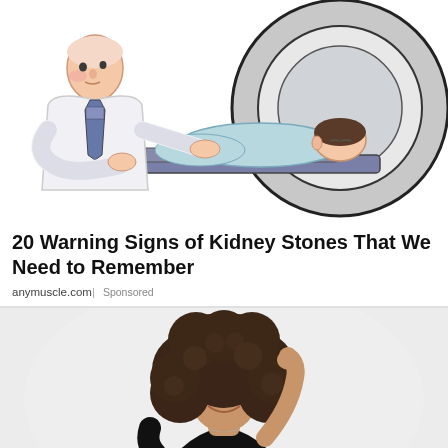[Figure (illustration): Cartoon illustration of a doctor placing a patient into an MRI machine. The doctor is wearing a white coat and tie, the patient is lying on a table entering the large circular MRI scanner.]
20 Warning Signs of Kidney Stones That We Need to Remember
anymuscle.com | Sponsored
[Figure (photo): Photo of a young woman with curly hair, smiling, wearing a black sleeveless top, with one hand raised to her hair, on a light gray background.]